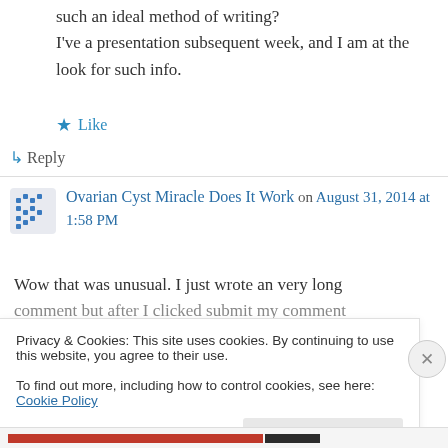such an ideal method of writing? I've a presentation subsequent week, and I am at the look for such info.
★ Like
↳ Reply
Ovarian Cyst Miracle Does It Work on August 31, 2014 at 1:58 PM
Wow that was unusual. I just wrote an very long comment but after I clicked submit my comment
Privacy & Cookies: This site uses cookies. By continuing to use this website, you agree to their use.
To find out more, including how to control cookies, see here: Cookie Policy
Close and accept